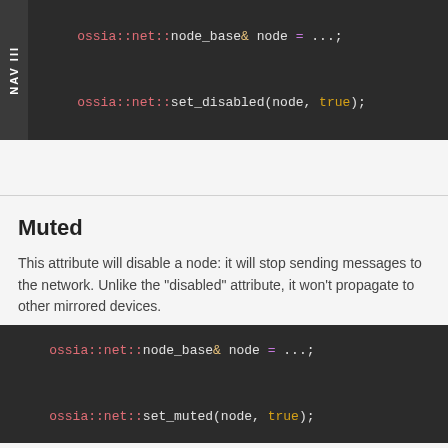[Figure (screenshot): Code block showing: ossia::net::node_base& node = ...; ossia::net::set_disabled(node, true);]
Muted
This attribute will disable a node: it will stop sending messages to the network. Unlike the "disabled" attribute, it won't propagate to other mirrored devices.
[Figure (screenshot): Code block showing: ossia::net::node_base& node = ...; ossia::net::set_muted(node, true);]